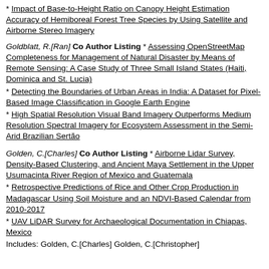* Impact of Base-to-Height Ratio on Canopy Height Estimation Accuracy of Hemiboreal Forest Tree Species by Using Satellite and Airborne Stereo Imagery
Goldblatt, R.[Ran] Co Author Listing * Assessing OpenStreetMap Completeness for Management of Natural Disaster by Means of Remote Sensing: A Case Study of Three Small Island States (Haiti, Dominica and St. Lucia)
* Detecting the Boundaries of Urban Areas in India: A Dataset for Pixel-Based Image Classification in Google Earth Engine
* High Spatial Resolution Visual Band Imagery Outperforms Medium Resolution Spectral Imagery for Ecosystem Assessment in the Semi-Arid Brazilian Sertão
Golden, C.[Charles] Co Author Listing * Airborne Lidar Survey, Density-Based Clustering, and Ancient Maya Settlement in the Upper Usumacinta River Region of Mexico and Guatemala
* Retrospective Predictions of Rice and Other Crop Production in Madagascar Using Soil Moisture and an NDVI-Based Calendar from 2010-2017
* UAV LiDAR Survey for Archaeological Documentation in Chiapas, Mexico
Includes: Golden, C.[Charles] Golden, C.[Christopher]